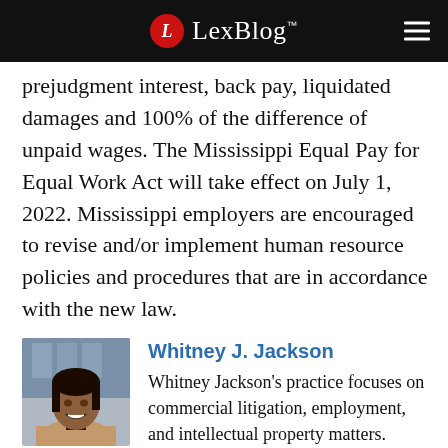LexBlog
prejudgment interest, back pay, liquidated damages and 100% of the difference of unpaid wages. The Mississippi Equal Pay for Equal Work Act will take effect on July 1, 2022. Mississippi employers are encouraged to revise and/or implement human resource policies and procedures that are in accordance with the new law.
[Figure (photo): Headshot photo of Whitney J. Jackson, a woman smiling, wearing a tan blazer against a blurred background]
Whitney J. Jackson
Whitney Jackson's practice focuses on commercial litigation, employment, and intellectual property matters.